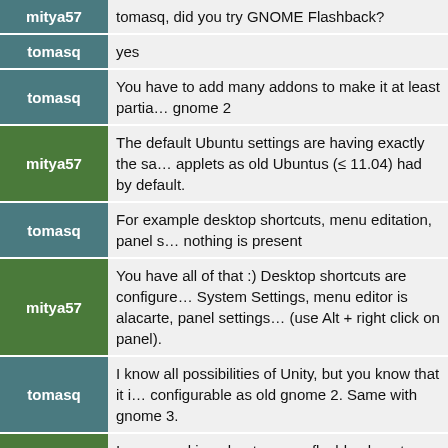| User | Message |
| --- | --- |
| mitya57 | tomasq, did you try GNOME Flashback? |
| tomasq | yes |
| tomasq | You have to add many addons to make it at least partially similar to gnome 2 |
| mitya57 | The default Ubuntu settings are having exactly the same applets as old Ubuntus (≤ 11.04) had by default. |
| tomasq | For example desktop shortcuts, menu editation, panel settings - nothing is present |
| mitya57 | You have all of that :) Desktop shortcuts are configured in System Settings, menu editor is alacarte, panel settings (use Alt + right click on panel). |
| tomasq | I know all possibilities of Unity, but you know that it is not as configurable as old gnome 2. Same with gnome 3. |
| mitya57 | I was speaking about gnome-flashback, not Unity. But those points apply to Unity too. |
| tomasq | for example I dont understand, why Ubuntu in older versions had nice bootsplash even with proprietary drivers. Why there are ASCII dots now? I know it is not a bug, but it is not important. Also there are strange text outputs at the end that should not be there. |
| tomasq | These small things can really irritate users even that it does not present any real problem. |
| dobey | ... |